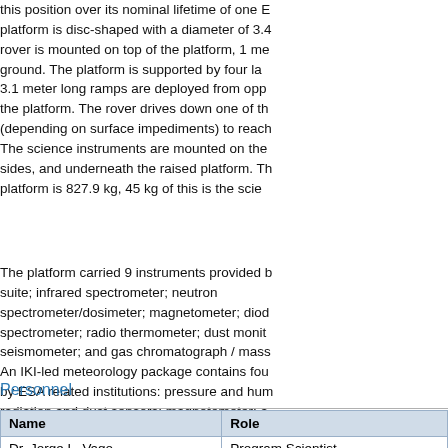this position over its nominal lifetime of one E... platform is disc-shaped with a diameter of 3.4... rover is mounted on top of the platform, 1 me... ground. The platform is supported by four la... 3.1 meter long ramps are deployed from opp... the platform. The rover drives down one of th... (depending on surface impediments) to reach... The science instruments are mounted on the... sides, and underneath the raised platform. Th... platform is 827.9 kg, 45 kg of this is the scie...
The platform carried 9 instruments provided b... suite; infrared spectrometer; neutron spectrometer/dosimeter; magnetometer; diod... spectrometer; radio thermometer; dust monit... seismometer; and gas chromatograph / mass... An IKI-led meteorology package contains fou... by ESA related institutions: pressure and hum... radiation and dust sensors; magnetometer; a... analyzer. Two other experiments are entirely... radioscience experiment and a habitability, br... and temperature package.
Personnel
| Name | Role |
| --- | --- |
| Dr. Jorge L. Vago | Program Scientist |